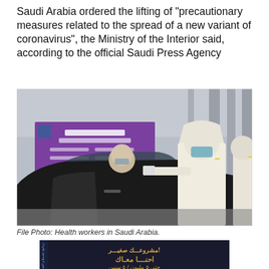Saudi Arabia ordered the lifting of "precautionary measures related to the spread of a new variant of coronavirus", the Ministry of the Interior said, according to the official Saudi Press Agency
[Figure (photo): Health workers in white PPE suits and masks at a checkpoint, one approaching a black car with documents, purple COVID-19 information banner visible in background.]
File Photo: Health workers in Saudi Arabia.
[Figure (photo): Arabic language advertisement with dark background and large Arabic text, partially visible at bottom of page.]